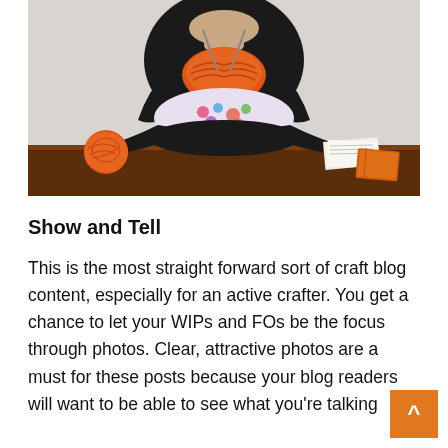[Figure (photo): A woman sitting cross-legged on a wooden table, wearing a black sweater and black tights with a colorful floral dress underneath. She is knitting an orange garment with knitting needles. An orange ball of yarn sits to her left. Papers and an orange notebook are to her right. White textured wall in background.]
Show and Tell
This is the most straight forward sort of craft blog content, especially for an active crafter. You get a chance to let your WIPs and FOs be the focus through photos. Clear, attractive photos are a must for these posts because your blog readers will want to be able to see what you're talking